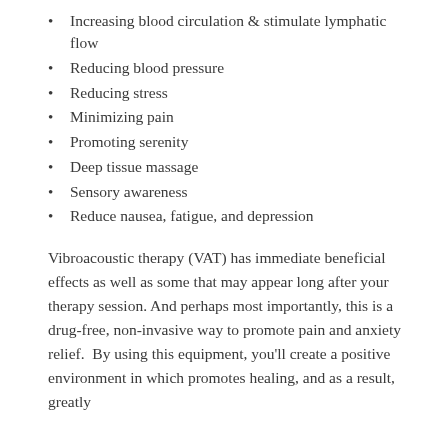Increasing blood circulation & stimulate lymphatic flow
Reducing blood pressure
Reducing stress
Minimizing pain
Promoting serenity
Deep tissue massage
Sensory awareness
Reduce nausea, fatigue, and depression
Vibroacoustic therapy (VAT) has immediate beneficial effects as well as some that may appear long after your therapy session. And perhaps most importantly, this is a drug-free, non-invasive way to promote pain and anxiety relief.  By using this equipment, you'll create a positive environment in which promotes healing, and as a result, greatly